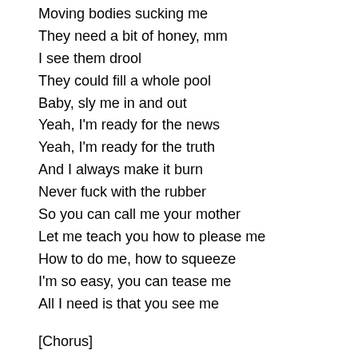Moving bodies sucking me
They need a bit of honey, mm
I see them drool
They could fill a whole pool
Baby, sly me in and out
Yeah, I'm ready for the news
Yeah, I'm ready for the truth
And I always make it burn
Never fuck with the rubber
So you can call me your mother
Let me teach you how to please me
How to do me, how to squeeze
I'm so easy, you can tease me
All I need is that you see me
[Chorus]
Do my nails, cut my hair
I'm a brand new bitch
Got my face in Mugler
And my new look sick
On a place we can share